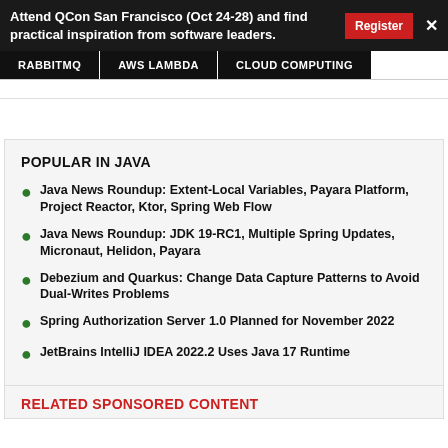Attend QCon San Francisco (Oct 24-28) and find practical inspiration from software leaders.
RABBITMQ | AWS LAMBDA | CLOUD COMPUTING
POPULAR IN JAVA
Java News Roundup: Extent-Local Variables, Payara Platform, Project Reactor, Ktor, Spring Web Flow
Java News Roundup: JDK 19-RC1, Multiple Spring Updates, Micronaut, Helidon, Payara
Debezium and Quarkus: Change Data Capture Patterns to Avoid Dual-Writes Problems
Spring Authorization Server 1.0 Planned for November 2022
JetBrains IntelliJ IDEA 2022.2 Uses Java 17 Runtime
RELATED SPONSORED CONTENT